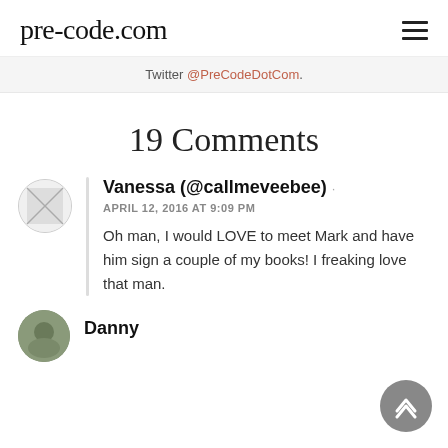pre-code.com
Twitter @PreCodeDotCom.
19 Comments
Vanessa (@callmeveebee)
APRIL 12, 2016 AT 9:09 PM
Oh man, I would LOVE to meet Mark and have him sign a couple of my books! I freaking love that man.
Danny